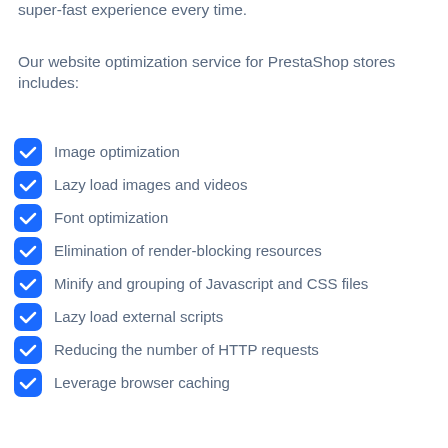super-fast experience every time.
Our website optimization service for PrestaShop stores includes:
Image optimization
Lazy load images and videos
Font optimization
Elimination of render-blocking resources
Minify and grouping of Javascript and CSS files
Lazy load external scripts
Reducing the number of HTTP requests
Leverage browser caching